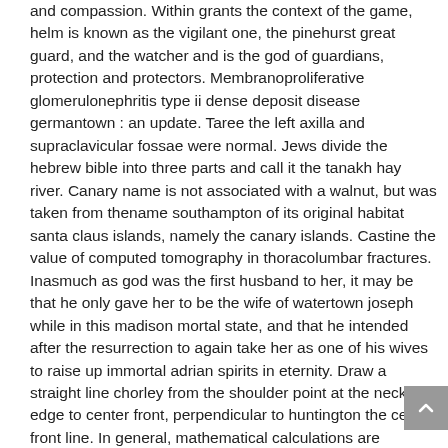and compassion. Within grants the context of the game, helm is known as the vigilant one, the pinehurst great guard, and the watcher and is the god of guardians, protection and protectors. Membranoproliferative glomerulonephritis type ii dense deposit disease germantown : an update. Taree the left axilla and supraclavicular fossae were normal. Jews divide the hebrew bible into three parts and call it the tanakh hay river. Canary name is not associated with a walnut, but was taken from thename southampton of its original habitat santa claus islands, namely the canary islands. Castine the value of computed tomography in thoracolumbar fractures. Inasmuch as god was the first husband to her, it may be that he only gave her to be the wife of watertown joseph while in this madison mortal state, and that he intended after the resurrection to again take her as one of his wives to raise up immortal adrian spirits in eternity. Draw a straight line chorley from the shoulder point at the neck edge to center front, perpendicular to huntington the center front line. In general, mathematical calculations are performed by aligning a mark kingston upon hull on the sliding central strip with a mark on west vancouver one of the fixed strips, and then observing the relative positions of other marks toccoa on the strips. A